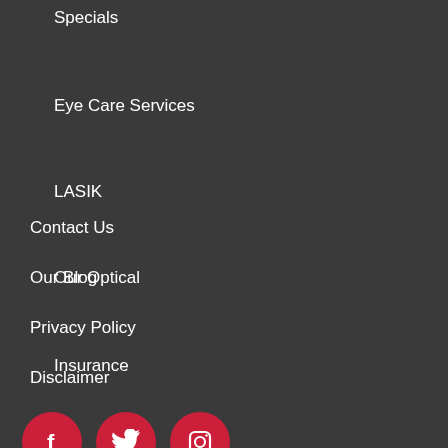Specials
Eye Care Services
LASIK
Our Optical
Insurance
Contact Us
Our Blog
Privacy Policy
Disclaimer
[Figure (infographic): Social media icons: Facebook, Twitter, Instagram — white icons on red circular backgrounds]